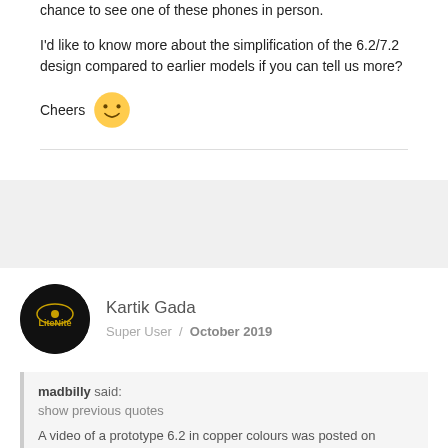chance to see one of these phones in person.
I'd like to know more about the simplification of the 6.2/7.2 design compared to earlier models if you can tell us more?
Cheers 🙂
Kartik Gada
Super User / October 2019
madbilly said: show previous quotes A video of a prototype 6.2 in copper colours was posted on Youtube I think. Personally I think that